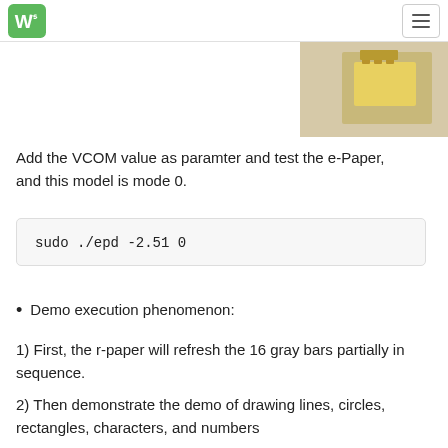Waveshare logo and navigation menu
[Figure (photo): Close-up photo of a small yellow e-paper module component on a beige background]
Add the VCOM value as paramter and test the e-Paper, and this model is mode 0.
sudo ./epd -2.51 0
Demo execution phenomenon:
1) First, the r-paper will refresh the 16 gray bars partially in sequence.
2) Then demonstrate the demo of drawing lines, circles, rectangles, characters, and numbers